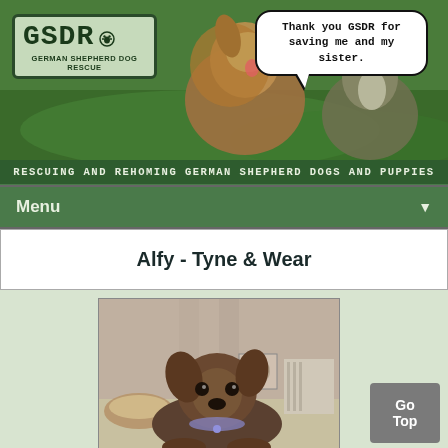[Figure (photo): GSDR website header banner showing two German Shepherd dogs on grass, with GSDR logo box on the left and a speech bubble saying 'Thank you GSDR for saving me and my sister.' on the right]
RESCUING AND REHOMING GERMAN SHEPHERD DOGS AND PUPPIES
Menu
Alfy - Tyne & Wear
[Figure (photo): Young German Shepherd puppy sitting on a carpet inside a room, looking at the camera]
Go Top